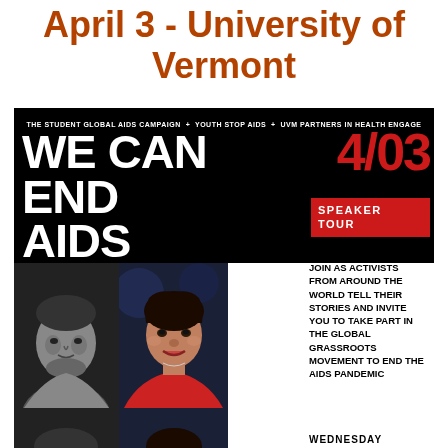April 3 - University of Vermont
[Figure (infographic): Event poster for 'We Can End AIDS' Speaker Tour on 4/03 at University of Vermont, featuring photos of two speakers, event details, organized by The Student Global AIDS Campaign, Youth Stop AIDS, and UVM Partners in Health Engage. Text reads: Join as activists from around the world tell their stories and invite you to take part in the global grassroots movement to end the AIDS pandemic. WEDNESDAY at bottom.]